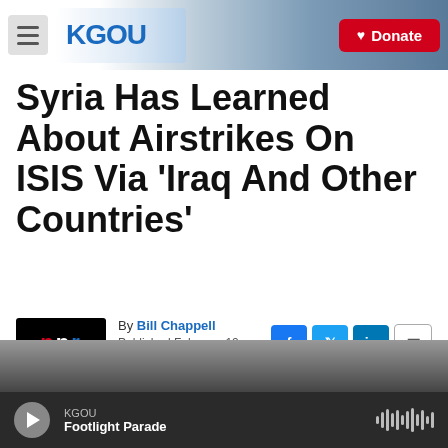KGOU | Donate
Syria Has Learned About Airstrikes On ISIS Via 'Iraq And Other Countries'
By Bill Chappell
Published February 10, 2015 at 8:45 AM CST
[Figure (logo): NPR logo with n in red, p in white, r in blue on black background]
[Figure (photo): Partial view of a news article photo at bottom]
KGOU
Footlight Parade